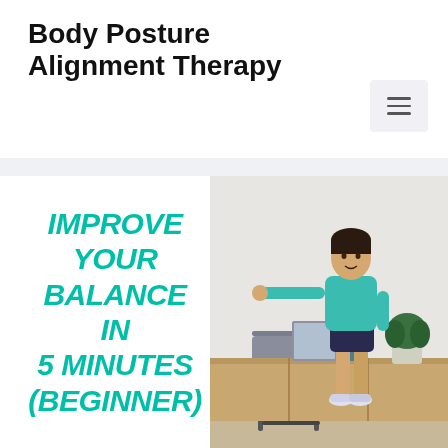Body Posture Alignment Therapy
[Figure (other): Hamburger menu icon button in top right area]
[Figure (photo): Person in teal shirt and dark shorts performing a balance exercise with one arm extended, standing next to a gray chair in a room with wooden shelf, plants, and art.]
IMPROVE YOUR BALANCE IN 5 MINUTES (BEGINNER)